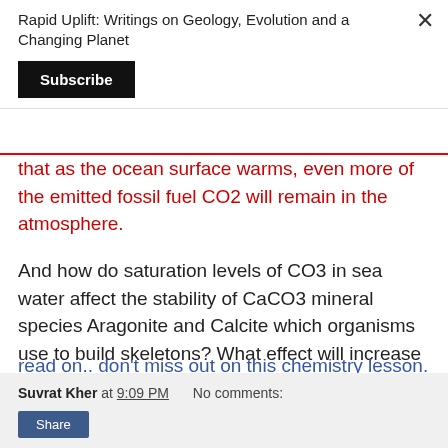Rapid Uplift: Writings on Geology, Evolution and a Changing Planet
that as the ocean surface warms, even more of the emitted fossil fuel CO2 will remain in the atmosphere.
And how do saturation levels of CO3 in sea water affect the stability of CaCO3 mineral species Aragonite and Calcite which organisms use to build skeletons? What effect will increase in ocean acidification have on organisms? ...
read on.. don't miss out on this chemistry lesson.
Suvrat Kher at 9:09 PM   No comments:   Share